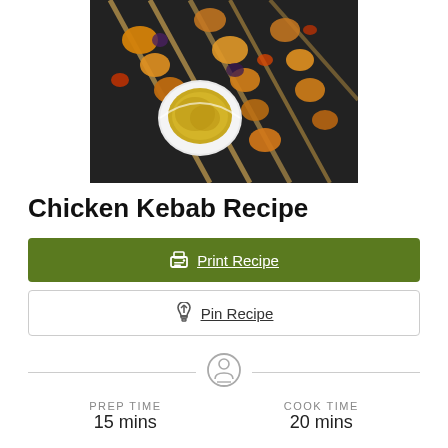[Figure (photo): Chicken kebabs on skewers on a dark tray with a white bowl of sauce/dip in the center]
Chicken Kebab Recipe
Print Recipe
Pin Recipe
PREP TIME 15 mins
COOK TIME 20 mins